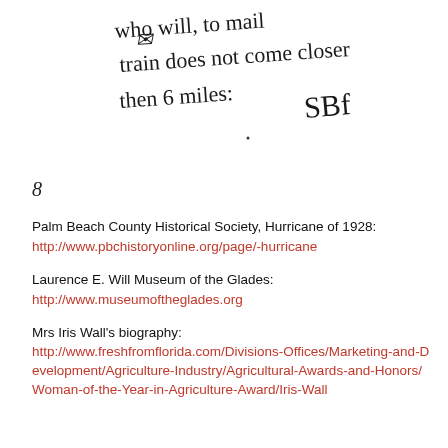[Figure (photo): Handwritten cursive text reading: 'who will, to mail ... train does not come closer than 6 miles: SBf' with a cursive signature or initials at the end.]
8
Palm Beach County Historical Society, Hurricane of 1928:
http://www.pbchistoryonline.org/page/-hurricane
Laurence E. Will Museum of the Glades:
http://www.museumoftheglades.org
Mrs Iris Wall's biography:
http://www.freshfromflorida.com/Divisions-Offices/Marketing-and-Development/Agriculture-Industry/Agricultural-Awards-and-Honors/Woman-of-the-Year-in-Agriculture-Award/Iris-Wall